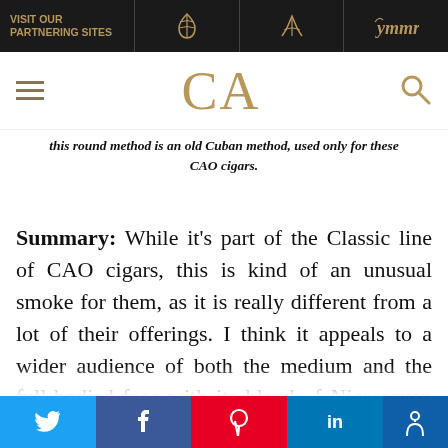VISIT OUR PARTNERING SITES
this round method is an old Cuban method, used only for these CAO cigars.
Summary: While it's part of the Classic line of CAO cigars, this is kind of an unusual smoke for them, as it is really different from a lot of their offerings. I think it appeals to a wider audience of both the medium and the full-bodied fans with its blend of Nicaraguan tobaccos inside and that gorgeous, oily, brown, Ecuadorian
Twitter | Facebook | Pinterest | LinkedIn | Accessibility